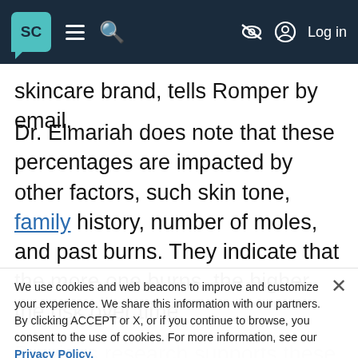SC [logo] ≡ 🔍 [eye-off icon] [user icon] Log in
skincare brand, tells Romper by email.
Dr. Elmariah does note that these percentages are impacted by other factors, such skin tone, family history, number of moles, and past burns. They indicate that the more one burns, the higher the risk over time.
Previous research supports these findings. Skin cancer risk rises by 80% when a young person suffers five or more blistering burns between the ages 15-20.⁶ This research also indicates that deadly melanoma is more highly associated with sun exposure as a youth while other types of skin cancer are the
We use cookies and web beacons to improve and customize your experience. We share this information with our partners. By clicking ACCEPT or X, or if you continue to browse, you consent to the use of cookies. For more information, see our Privacy Policy.
Manage Cookies    Accept Cookies